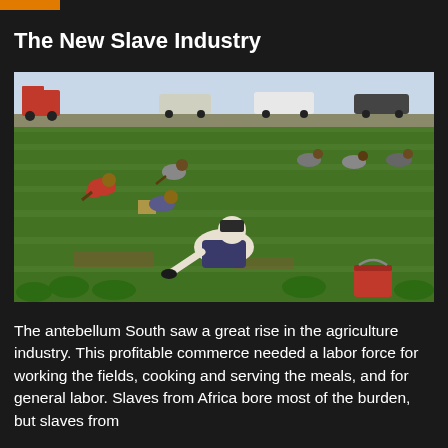The New Slave Industry
[Figure (photo): Agricultural workers bent over picking crops in a large green field. Several people in various colored clothing are working across the field. Vehicles including a red truck and cars are visible along the road at the top of the field. A man in a light shirt and dark cap is prominent in the foreground, kneeling among the plants. A red bucket is visible in the lower right.]
The antebellum South saw a great rise in the agriculture industry. This profitable commerce needed a labor force for working the fields, cooking and serving the meals, and for general labor. Slaves from Africa bore most of the burden, but slaves from